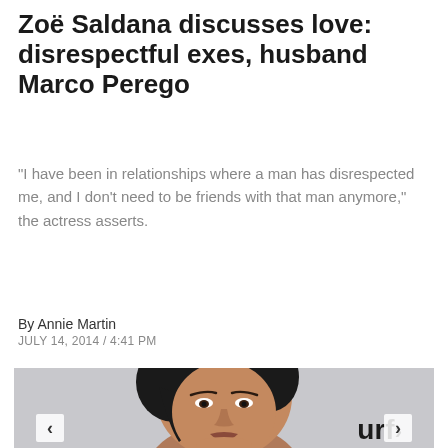Zoë Saldana discusses love: disrespectful exes, husband Marco Perego
"I have been in relationships where a man has disrespected me, and I don't need to be friends with that man anymore," the actress asserts.
By Annie Martin
JULY 14, 2014 / 4:41 PM
[Figure (photo): Photo of Zoë Saldana, a woman with dark hair pulled back, wearing minimal makeup, photographed against a light gray background. Navigation arrows visible at bottom corners with partial text 'urf' in bottom right.]